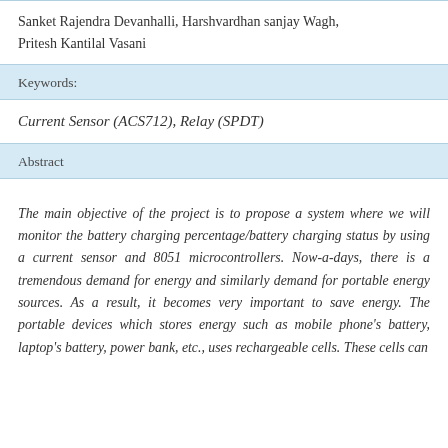Sanket Rajendra Devanhalli, Harshvardhan sanjay Wagh, Pritesh Kantilal Vasani
Keywords:
Current Sensor (ACS712), Relay (SPDT)
Abstract
The main objective of the project is to propose a system where we will monitor the battery charging percentage/battery charging status by using a current sensor and 8051 microcontrollers. Now-a-days, there is a tremendous demand for energy and similarly demand for portable energy sources. As a result, it becomes very important to save energy. The portable devices which stores energy such as mobile phone's battery, laptop's battery, power bank, etc., uses rechargeable cells. These cells can